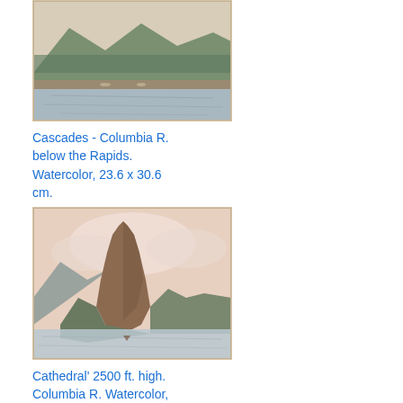[Figure (illustration): Watercolor painting of Cascades on the Columbia River below the Rapids, showing mountains, water, and trees in muted earth and green tones.]
Cascades - Columbia R. below the Rapids. Watercolor, 23.6 x 30.6 cm.
[Figure (illustration): Watercolor painting of Cathedral Rock, 2500 ft. high, on the Columbia River. Shows a dramatic rocky spire with pink sky and water reflection.]
Cathedral' 2500 ft. high. Columbia R. Watercolor, 23.5 x 30.5 cm.